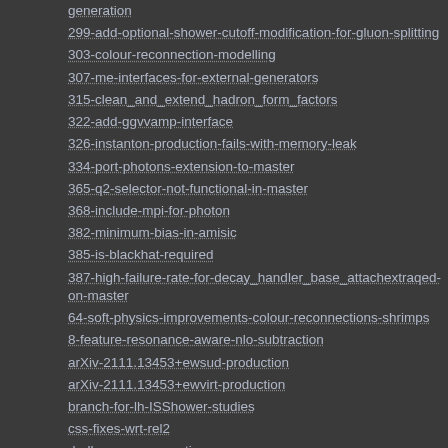generation
299-add-optional-shower-cutoff-modification-for-gluon-splitting
303-colour-reconnection-modelling
307-me-interfaces-for-external-generators
315-clean_and_extend_hadron_form_factors
322-add-ggvvamp-interface
326-instanton-production-fails-with-memory-leak
334-port-photons-extension-to-master
365-q2-selector-not-functional-in-master
368-include-mpi-for-photon
382-minimum-bias-in-amisic
385-is-blackhat-required
387-high-failure-rate-for-decay_handler_base_attachextraqed-on-master
64-soft-physics-improvements-colour-reconnections-shrimps
8-feature-resonance-aware-nlo-subtraction
arXiv-2111.13453+ewsud-production
arXiv-2111.13453+ewvirt-production
branch-for-lh-ISShower-studies
css-fixes-wrt-rel2
drell-yan-me-corrections